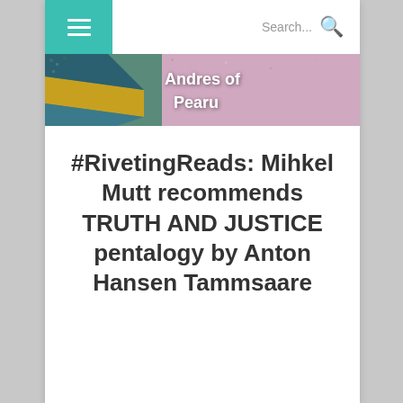≡  Search...  🔍
[Figure (photo): Banner image showing a textured mosaic or tile surface with Swedish flag colors (yellow and blue diagonal stripe visible on left) and pink/purple stone texture on right, with overlaid white text reading 'Andres of Pearu']
#RivetingReads: Mihkel Mutt recommends TRUTH AND JUSTICE pentalogy by Anton Hansen Tammsaare